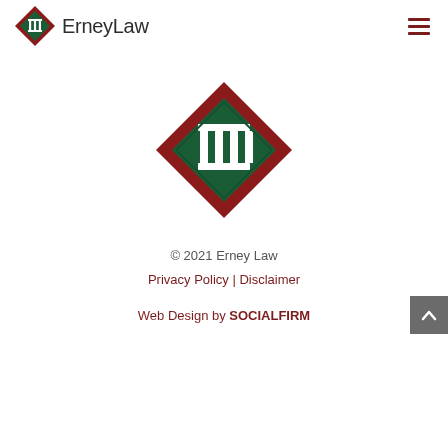ErneyLaw
[Figure (logo): ErneyLaw diamond-shaped logo with white pillar/column icon on dark green background, surrounded by dark red diamond border]
[Figure (logo): Large ErneyLaw diamond-shaped logo centered on page, white column icon on green background with dark red diamond border]
© 2021 Erney Law
Privacy Policy | Disclaimer
Web Design by SOCIALFIRM